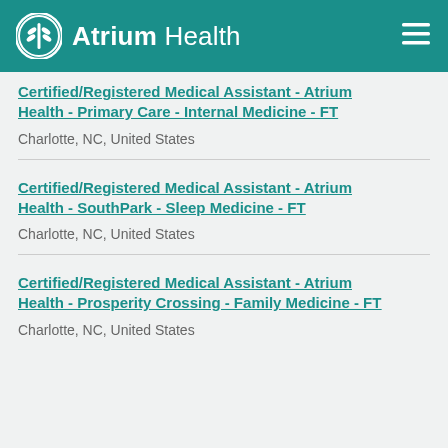Atrium Health
Certified/Registered Medical Assistant - Atrium Health - Primary Care - Internal Medicine - FT
Charlotte, NC, United States
Certified/Registered Medical Assistant - Atrium Health - SouthPark - Sleep Medicine - FT
Charlotte, NC, United States
Certified/Registered Medical Assistant - Atrium Health - Prosperity Crossing - Family Medicine - FT
Charlotte, NC, United States